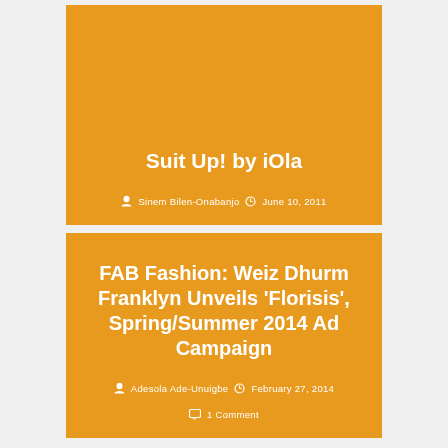[Figure (screenshot): Orange card with title 'Suit Up! by iOla', author Sinem Bilen-Onabanjo, date June 10, 2011]
Suit Up! by iOla
Sinem Bilen-Onabanjo  June 10, 2011
[Figure (screenshot): Orange card with title 'FAB Fashion: Weiz Dhurm Franklyn Unveils ‘Florisis’, Spring/Summer 2014 Ad Campaign', author Adesola Ade-Unuigbe, date February 27, 2014, 1 Comment]
FAB Fashion: Weiz Dhurm Franklyn Unveils ‘Florisis’, Spring/Summer 2014 Ad Campaign
Adesola Ade-Unuigbe  February 27, 2014
1 Comment